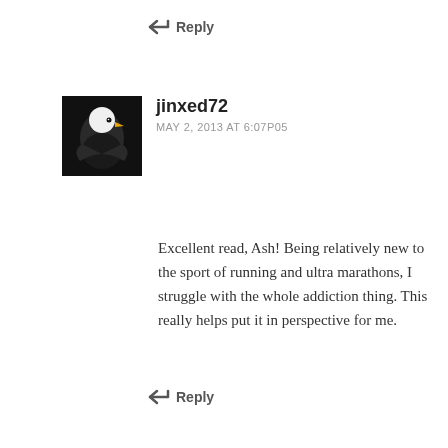↩ Reply
jinxed72
MAY 2, 2013 AT 6:07P05
Excellent read, Ash! Being relatively new to the sport of running and ultra marathons, I struggle with the whole addiction thing. This really helps put it in perspective for me.
↩ Reply
Ashley Ringo Walsh
MAY 2, 2013 AT 6:07P05
That's awesome, I'm glad to hear that. Good luck